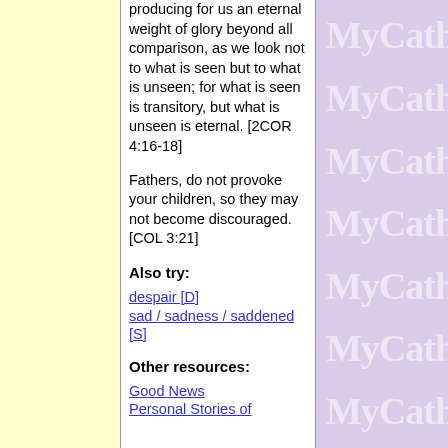producing for us an eternal weight of glory beyond all comparison, as we look not to what is seen but to what is unseen; for what is seen is transitory, but what is unseen is eternal. [2COR 4:16-18]
Fathers, do not provoke your children, so they may not become discouraged. [COL 3:21]
Also try:
despair [D]
sad / sadness / saddened [S]
Other resources:
Good News
Personal Stories of